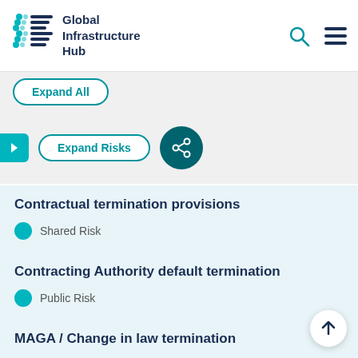Global Infrastructure Hub
Expand All
Expand Risks
Contractual termination provisions
Shared Risk
Contracting Authority default termination
Public Risk
MAGA / Change in law termination